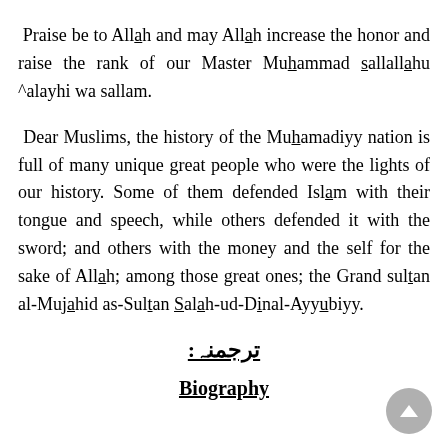Praise be to Allah and may Allah increase the honor and raise the rank of our Master Muhammad sallallahu ^alayhi wa sallam.
Dear Muslims, the history of the Muhamadiyy nation is full of many unique great people who were the lights of our history. Some of them defended Islam with their tongue and speech, while others defended it with the sword; and others with the money and the self for the sake of Allah; among those great ones; the Grand sultan al-Mujahid as-Sultan Salah-ud-Dinal-Ayyubiyy.
ترجمنہ:
Biography